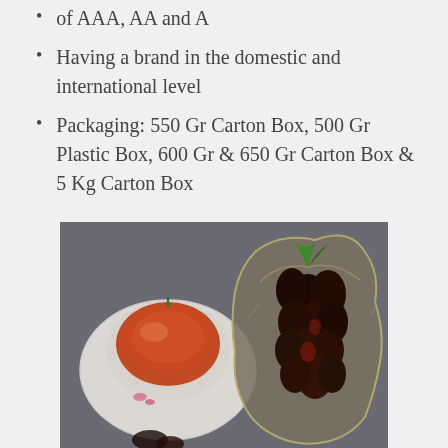of AAA, AA and A
Having a brand in the domestic and international level
Packaging: 550 Gr Carton Box, 500 Gr Plastic Box, 600 Gr & 650 Gr Carton Box & 5 Kg Carton Box
[Figure (photo): A cup of tea on a saucer (left) and a decorative arrangement of dark dates/fruits in an ornate silver tray (right), against a dark gray background.]